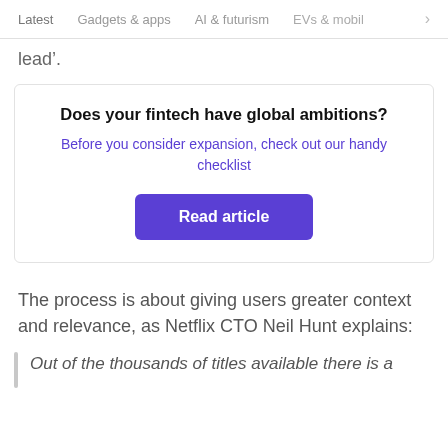Latest   Gadgets & apps   AI & futurism   EVs & mobil  >
lead'.
[Figure (infographic): Promotional box with bold title 'Does your fintech have global ambitions?', subtitle in purple 'Before you consider expansion, check out our handy checklist', and a purple 'Read article' button.]
The process is about giving users greater context and relevance, as Netflix CTO Neil Hunt explains:
Out of the thousands of titles available there is a